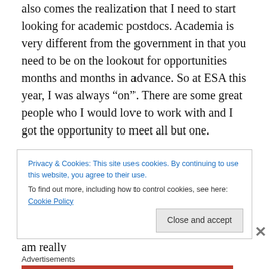also comes the realization that I need to start looking for academic postdocs. Academia is very different from the government in that you need to be on the lookout for opportunities months and months in advance. So at ESA this year, I was always “on”. There are some great people who I would love to work with and I got the opportunity to meet all but one.
My overall experience at ESA was really good. In addition to networking, I got to catch up with former colleagues and some friends and peers that I haven’t seen in years. I broadened the type of talks that I attended and am really
Privacy & Cookies: This site uses cookies. By continuing to use this website, you agree to their use.
To find out more, including how to control cookies, see here: Cookie Policy
Advertisements